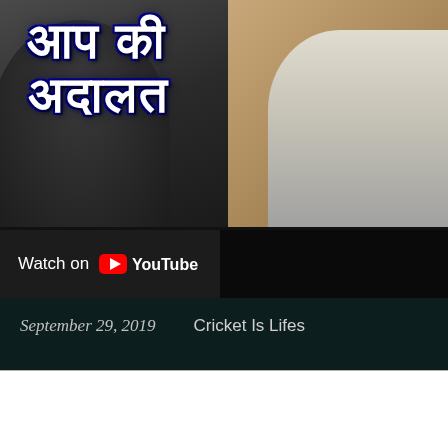[Figure (screenshot): YouTube video thumbnail showing 'Aap Ki Adalat' (आप की अदालत) Hindi TV show with two people visible, overlaid with a 'Watch on YouTube' button bar. The thumbnail has a brown/golden background with bold white Hindi text reading 'आप की अदालत'. Below is a dark bar with 'Watch on YouTube' logo.]
September 29, 2019    Cricket Is Lifes